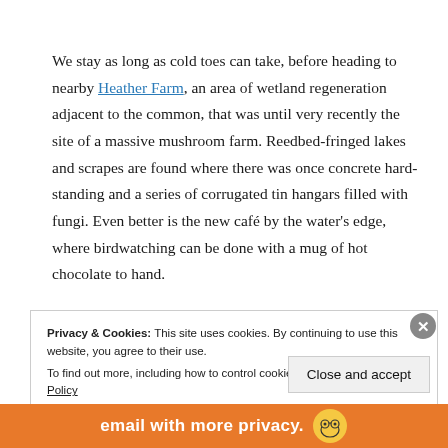We stay as long as cold toes can take, before heading to nearby Heather Farm, an area of wetland regeneration adjacent to the common, that was until very recently the site of a massive mushroom farm. Reedbed-fringed lakes and scrapes are found where there was once concrete hard-standing and a series of corrugated tin hangars filled with fungi. Even better is the new café by the water's edge, where birdwatching can be done with a mug of hot chocolate to hand.
Privacy & Cookies: This site uses cookies. By continuing to use this website, you agree to their use. To find out more, including how to control cookies, see here: Cookie Policy
Close and accept
email with more privacy.